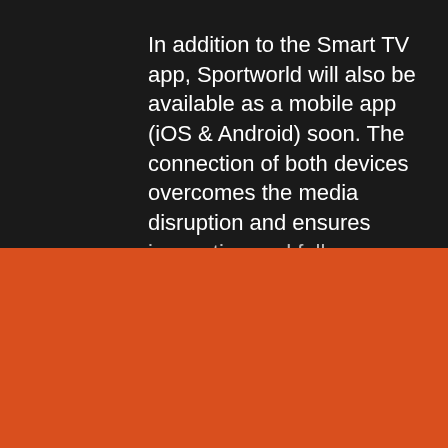In addition to the Smart TV app, Sportworld will also be available as a mobile app (iOS & Android) soon. The connection of both devices overcomes the media disruption and ensures innovation and full...
By clicking "Accept", you agree to the storing of cookies on your device to enhance site navigation, analyze site usage, and assist in our marketing efforts. View our Privacy Preferences for more information.
DENY
ACCEPT